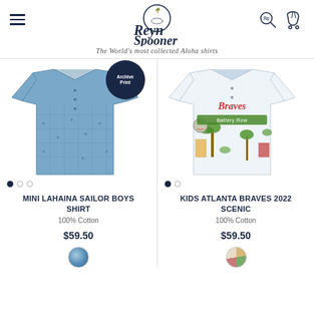Reyn Spooner — The World's most collected Aloha shirts
[Figure (photo): Blue Mini Lahaina Sailor Boys shirt with 'Archive Print' badge]
MINI LAHAINA SAILOR BOYS SHIRT
100% Cotton
$59.50
[Figure (photo): Kids Atlanta Braves 2022 Scenic shirt with colorful baseball-themed print]
KIDS ATLANTA BRAVES 2022 SCENIC
100% Cotton
$59.50